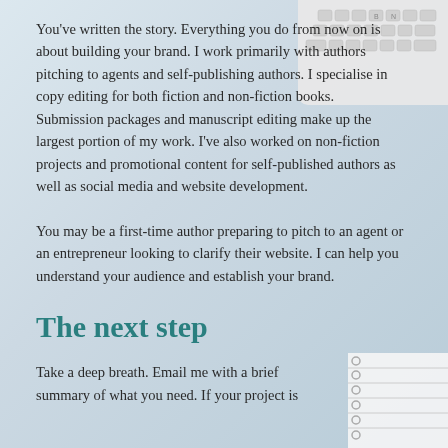You've written the story. Everything you do from now on is about building your brand. I work primarily with authors pitching to agents and self-publishing authors. I specialise in copy editing for both fiction and non-fiction books. Submission packages and manuscript editing make up the largest portion of my work. I've also worked on non-fiction projects and promotional content for self-published authors as well as social media and website development.
You may be a first-time author preparing to pitch to an agent or an entrepreneur looking to clarify their website. I can help you understand your audience and establish your brand.
The next step
Take a deep breath. Email me with a brief summary of what you need. If your project is